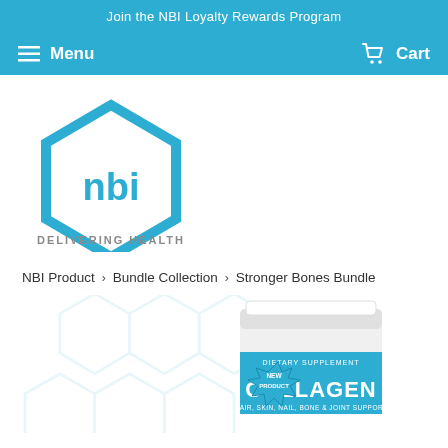Join the NBI Loyalty Rewards Program
Menu  Cart
[Figure (logo): NBI logo — hexagon shape with 'nbi' text inside and 'DELIVERING HEALTH' tagline below]
NBI Product › Bundle Collection › Stronger Bones Bundle
[Figure (photo): Collagen supplement product container with 'NEW PRODUCT' starburst badge and 'COLLAGEN' text on the label, shown partially at the bottom of the page]